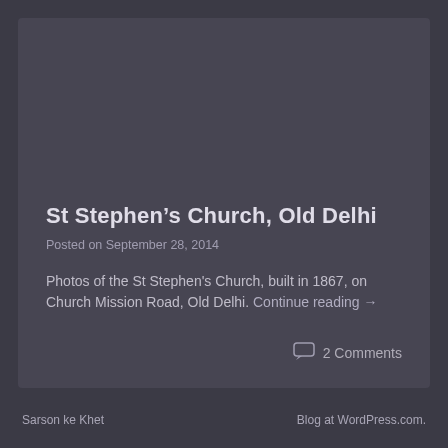St Stephen’s Church, Old Delhi
Posted on September 28, 2014
Photos of the St Stephen's Church, built in 1867, on Church Mission Road, Old Delhi. Continue reading →
2 Comments
Sarson ke Khet    Blog at WordPress.com.